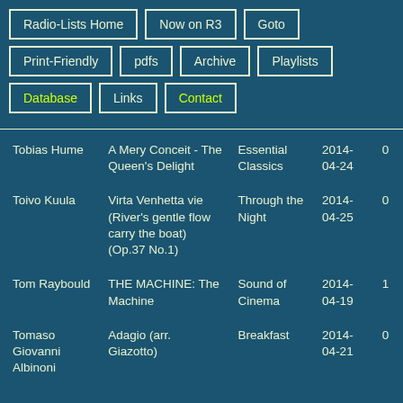Radio-Lists Home
Now on R3
Goto
Print-Friendly
pdfs
Archive
Playlists
Database
Links
Contact
| Composer | Work | Programme | Date |  |
| --- | --- | --- | --- | --- |
| Tobias Hume | A Mery Conceit - The Queen's Delight | Essential Classics | 2014-04-24 | 0 |
| Toivo Kuula | Virta Venhetta vie (River's gentle flow carry the boat) (Op.37 No.1) | Through the Night | 2014-04-25 | 0 |
| Tom Raybould | THE MACHINE: The Machine | Sound of Cinema | 2014-04-19 | 1 |
| Tomaso Giovanni Albinoni | Adagio (arr. Giazotto) | Breakfast | 2014-04-21 | 0 |